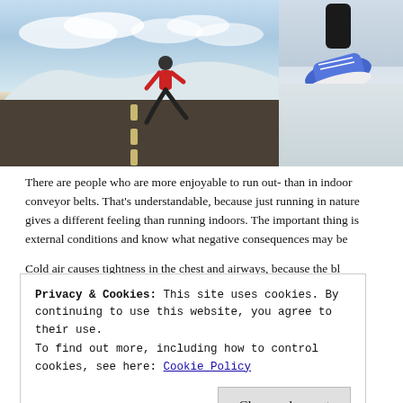[Figure (photo): Person running outdoors in winter along a road with snowy landscape and cloudy sky]
[Figure (photo): Close-up of running shoe/foot in winter snowy conditions]
There are people who are more enjoyable to run out- than in indoor conveyor belts. That’s understandable, because just running in nature gives a different feeling than running indoors. The important thing is external conditions and know what negative consequences may be
Cold air causes tightness in the chest and airways, because the bl...
Privacy & Cookies: This site uses cookies. By continuing to use this website, you agree to their use.
To find out more, including how to control cookies, see here: Cookie Policy
Close and accept
useful tips that will help you to save and easily submit low temperatures w...